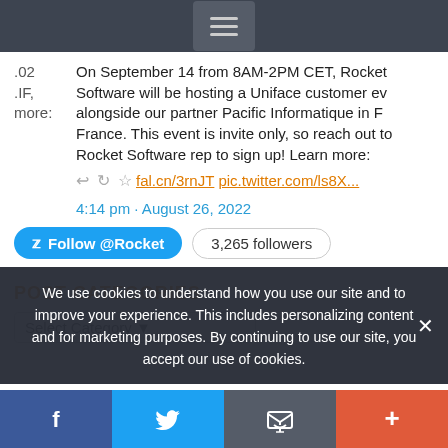Navigation menu bar with hamburger icon
.02    On September 14 from 8AM-2PM CET, Rocket
.IF,   Software will be hosting a Uniface customer ev
more: alongside our partner Pacific Informatique in F
       France. This event is invite only, so reach out to
       Rocket Software rep to sign up! Learn more:
fal.cn/3rnJT pic.twitter.com/ls8X...
4:14 pm · August 26, 2022
Follow @Rocket   3,265 followers
POST CATEGORIES
We use cookies to understand how you use our site and to improve your experience. This includes personalizing content and for marketing purposes. By continuing to use our site, you accept our use of cookies.
Select Category
f  [twitter bird]  [email icon]  +